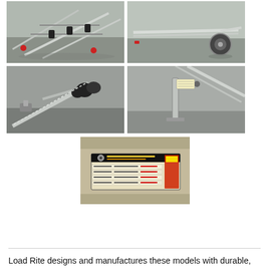[Figure (photo): Top-left photo: boat trailer frame viewed from the front/side, showing roller supports and red marker lights, in a parking lot setting.]
[Figure (photo): Top-right photo: side view of boat trailer with single axle wheel and tongue extending to the right, parked on gravel/pavement.]
[Figure (photo): Middle-left photo: close-up of trailer bow stop rollers and coupler hardware on the tongue.]
[Figure (photo): Middle-right photo: close-up of trailer tongue jack/stabilizer leg on gravel surface.]
[Figure (photo): Center bottom photo: close-up of tire and loading information sticker/placard on the trailer frame.]
Load Rite designs and manufactures these models with durable,